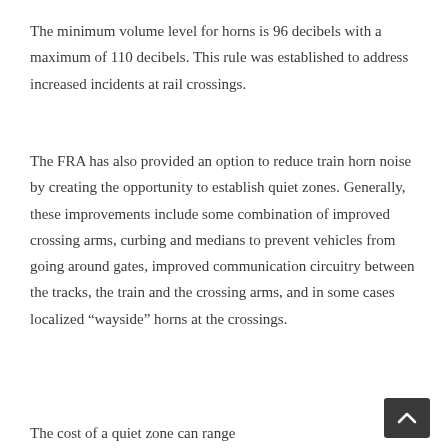The minimum volume level for horns is 96 decibels with a maximum of 110 decibels. This rule was established to address increased incidents at rail crossings.
The FRA has also provided an option to reduce train horn noise by creating the opportunity to establish quiet zones. Generally, these improvements include some combination of improved crossing arms, curbing and medians to prevent vehicles from going around gates, improved communication circuitry between the tracks, the train and the crossing arms, and in some cases localized “wayside” horns at the crossings.
The cost of a quiet zone can range